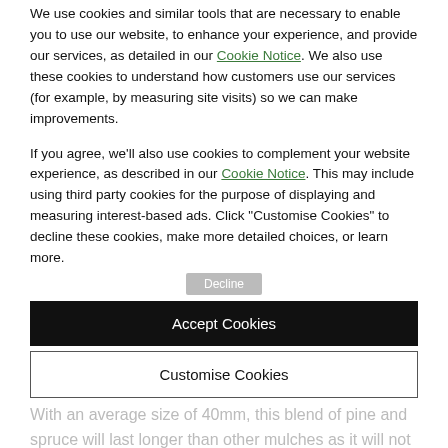We use cookies and similar tools that are necessary to enable you to use our website, to enhance your experience, and provide our services, as detailed in our Cookie Notice. We also use these cookies to understand how customers use our services (for example, by measuring site visits) so we can make improvements.
If you agree, we'll also use cookies to complement your website experience, as described in our Cookie Notice. This may include using third party cookies for the purpose of displaying and measuring interest-based ads. Click "Customise Cookies" to decline these cookies, make more detailed choices, or learn more.
Accept Cookies
Customise Cookies
With an average size of 40mm, this blend of pine and spruce will last longer than other mulches as it will not break down as quickly. The weight/value of the pre-packed